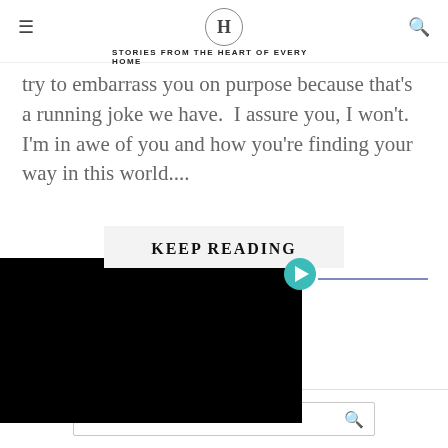H — STORIES FROM THE HEART OF EVERY HOME
try to embarrass you on purpose because that's a running joke we have.  I assure you, I won't. I'm in awe of you and how you're finding your way in this world....
KEEP READING
[Figure (screenshot): Black video player thumbnail with teal play button and blue progress bar]
[Figure (screenshot): Search bar at bottom reading 'Search and hit enter...' with magnifying glass icon]